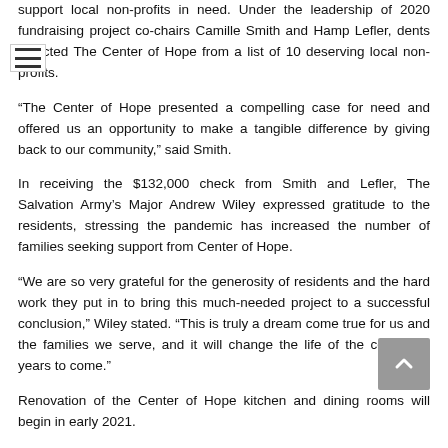support local non-profits in need. Under the leadership of 2020 fundraising project co-chairs Camille Smith and Hamp Lefler, dents selected The Center of Hope from a list of 10 deserving local non-profits.
“The Center of Hope presented a compelling case for need and offered us an opportunity to make a tangible difference by giving back to our community,” said Smith.
In receiving the $132,000 check from Smith and Lefler, The Salvation Army’s Major Andrew Wiley expressed gratitude to the residents, stressing the pandemic has increased the number of families seeking support from Center of Hope.
“We are so very grateful for the generosity of residents and the hard work they put in to bring this much-needed project to a successful conclusion,” Wiley stated. “This is truly a dream come true for us and the families we serve, and it will change the life of the center for years to come.”
Renovation of the Center of Hope kitchen and dining rooms will begin in early 2021.
Currently, the Center can house up to 100 people who remain at the Center until the cause of their homelessness has been